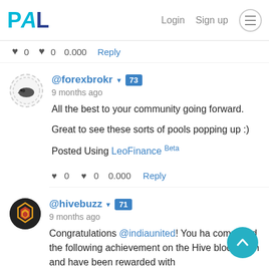PAL   Login   Sign up
♥ 0  ♥ 0  0.000  Reply
@forexbrokr ▾ 73
9 months ago
All the best to your community going forward.

Great to see these sorts of pools popping up :)

Posted Using LeoFinance Beta
♥ 0  ♥ 0  0.000  Reply
@hivebuzz ▾ 71
9 months ago
Congratulations @indiaunited! You ha completed the following achievement on the Hive blockchain and have been rewarded with